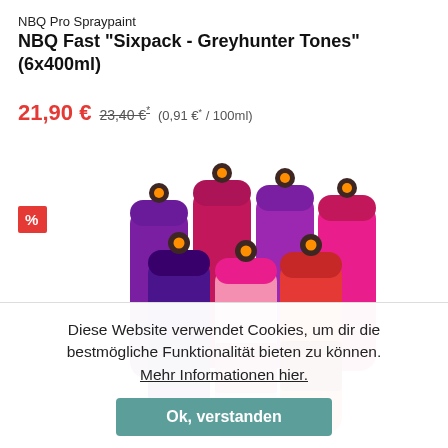NBQ Pro Spraypaint
NBQ Fast "Sixpack - Greyhunter Tones" (6x400ml)
21,90 € 23,40 €* (0,91 €* / 100ml)
[Figure (photo): Six spray paint cans in pink, purple, and magenta tones arranged in a group, with a red percent badge on the left]
Diese Website verwendet Cookies, um dir die bestmögliche Funktionalität bieten zu können. Mehr Informationen hier.
Ok, verstanden